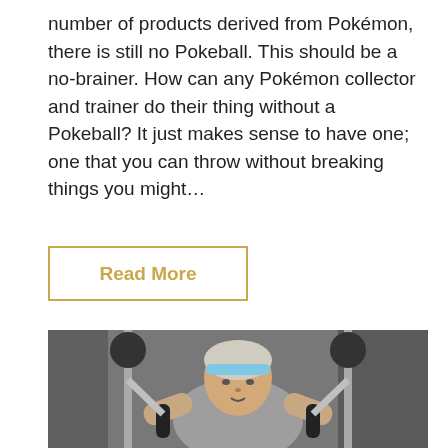number of products derived from Pokémon, there is still no Pokeball. This should be a no-brainer. How can any Pokémon collector and trainer do their thing without a Pokeball? It just makes sense to have one; one that you can throw without breaking things you might…
Read More
[Figure (photo): A woman with a light blue headband wearing a grey t-shirt, working out on a gym machine (chest press or similar), gripping the handles and looking upward, in a gym environment with equipment visible in the background.]